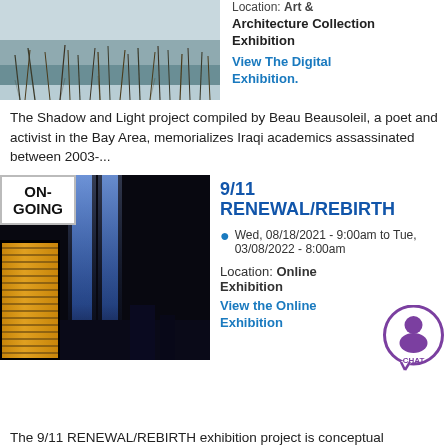[Figure (photo): Landscape photo showing reeds/grasses reflected in water, muted blue-grey tones]
Location: Art & Architecture Collection Exhibition
View The Digital Exhibition.
The Shadow and Light project compiled by Beau Beausoleil, a poet and activist in the Bay Area, memorializes Iraqi academics assassinated between 2003-...
[Figure (photo): Night photo of 9/11 memorial tribute in light beams rising above city skyline with illuminated building in foreground]
9/11 RENEWAL/REBIRTH
Wed, 08/18/2021 - 9:00am to Tue, 03/08/2022 - 8:00am
Location: Online Exhibition
View the Online Exhibition
The 9/11 RENEWAL/REBIRTH exhibition project is conceptual